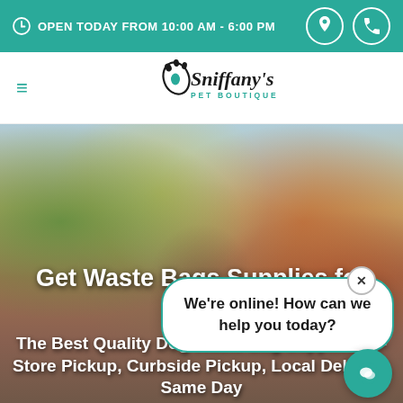OPEN TODAY FROM 10:00 AM - 6:00 PM
[Figure (logo): Sniffany's Pet Boutique logo with paw print swirl]
[Figure (photo): Outdoor autumn scene with a dog, colorful fall foliage in background]
Get Waste Bags Supplies for Dogs
The Best Quality Dog Waste Bag Supplies. In-Store Pickup, Curbside Pickup, Local Delivery, Same Day
[Figure (screenshot): Chat popup widget saying 'We're online! How can we help you today?' with close button and teal chat icon]